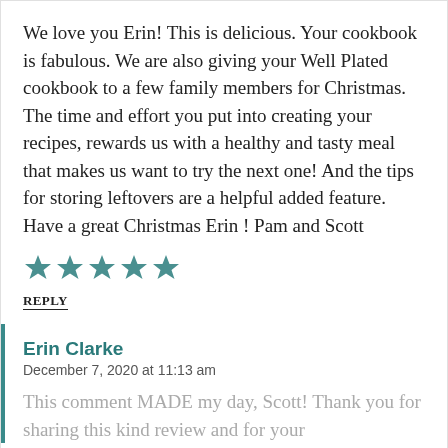We love you Erin! This is delicious. Your cookbook is fabulous. We are also giving your Well Plated cookbook to a few family members for Christmas. The time and effort you put into creating your recipes, rewards us with a healthy and tasty meal that makes us want to try the next one! And the tips for storing leftovers are a helpful added feature. Have a great Christmas Erin ! Pam and Scott
[Figure (other): Five filled teal/dark-cyan star rating icons]
REPLY
Erin Clarke
December 7, 2020 at 11:13 am
This comment MADE my day, Scott! Thank you for sharing this kind review and for your